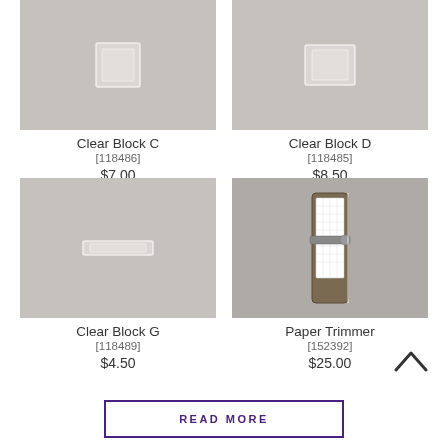[Figure (photo): Clear Block C product photo on grey background]
Clear Block C
[118486]
$7.00
[Figure (photo): Clear Block D product photo on grey background]
Clear Block D
[118485]
$8.50
[Figure (photo): Clear Block G product photo on grey background]
Clear Block G
[118489]
$4.50
[Figure (photo): Paper Trimmer product photo on grey background]
Paper Trimmer
[152392]
$25.00
READ MORE